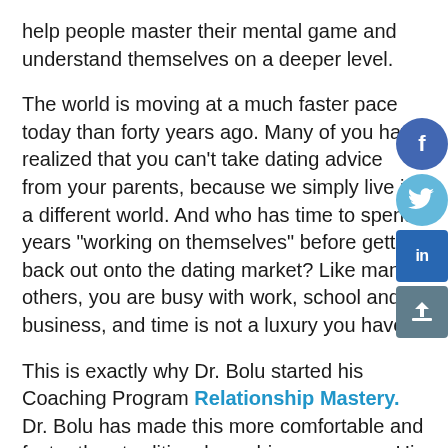help people master their mental game and understand themselves on a deeper level.
The world is moving at a much faster pace today than forty years ago. Many of you have realized that you can't take dating advice from your parents, because we simply live in a different world. And who has time to spend years "working on themselves" before getting back out onto the dating market? Like many others, you are busy with work, school and business, and time is not a luxury you have.
This is exactly why Dr. Bolu started his Coaching Program Relationship Mastery. Dr. Bolu has made this more comfortable and faster than traditional coaching programs. His Relationship Mastery